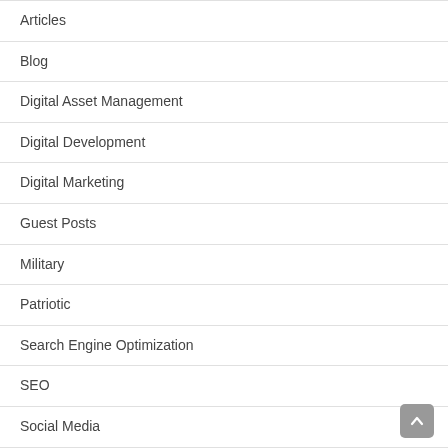Articles
Blog
Digital Asset Management
Digital Development
Digital Marketing
Guest Posts
Military
Patriotic
Search Engine Optimization
SEO
Social Media
Tricks